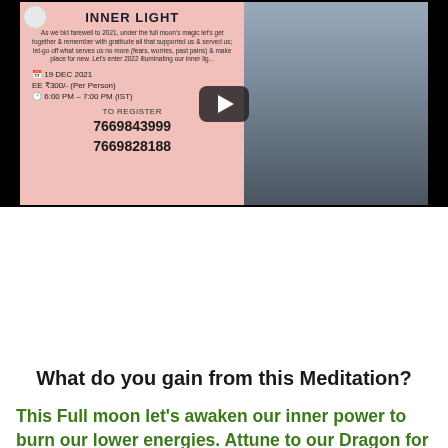[Figure (screenshot): Video thumbnail showing a meditation event flyer with pink background on the left side containing event title 'INNER LIGHT', description, date 19 DEC 2021, price EE ₹300/- (Per Person), time 6:00 PM - 7:00 PM (IST), and contact numbers 7669843999 and 7669828188 for registration. Right side shows a woman with long dark hair. A dark play button overlay is centered on the image.]
What do you gain from this Meditation?
This Full moon let's awaken our inner power to burn our lower energies. Attune to our Dragon for clearing. Start a